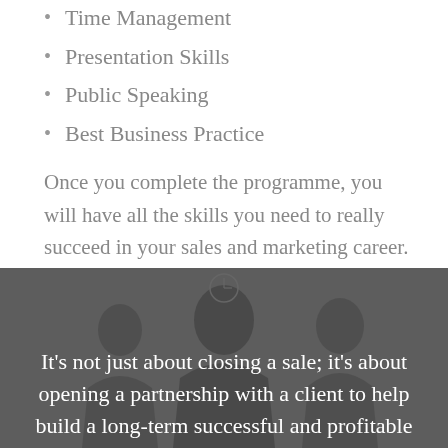Time Management
Presentation Skills
Public Speaking
Best Business Practice
Once you complete the programme, you will have all the skills you need to really succeed in your sales and marketing career.
[Figure (photo): Grayscale photo of people in a business or meeting setting, used as background for a quote overlay]
It’s not just about closing a sale; it’s about opening a partnership with a client to help build a long-term successful and profitable